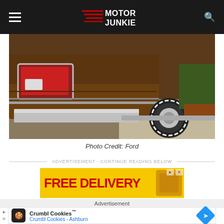Motor Junkie
[Figure (photo): Rear view of a vintage brown Ford car parked on a driveway, showing the tail light, chrome bumper, and rear tire with white lettering on a concrete driveway]
Photo Credit: Ford
ADVERTISEMENT - CONTINUE READING BELOW
[Figure (screenshot): Yellow advertisement banner showing FREE DELIVERY text in large red bold letters on a yellow background]
Advertisement
[Figure (screenshot): Crumbl Cookies advertisement showing logo, brand name Crumbl Cookies with trademark symbol, and subtext Crumbl Cookies - Ashburn with a blue diamond navigation arrow icon]